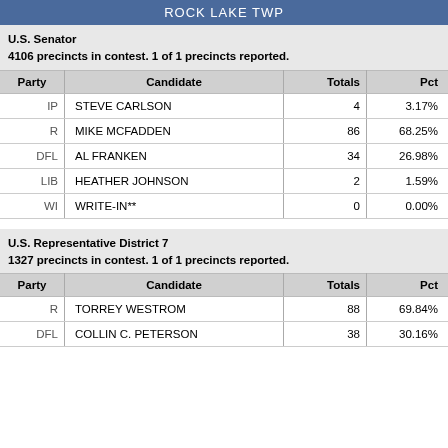ROCK LAKE TWP
U.S. Senator
4106 precincts in contest. 1 of 1 precincts reported.
| Party | Candidate | Totals | Pct |
| --- | --- | --- | --- |
| IP | STEVE CARLSON | 4 | 3.17% |
| R | MIKE MCFADDEN | 86 | 68.25% |
| DFL | AL FRANKEN | 34 | 26.98% |
| LIB | HEATHER JOHNSON | 2 | 1.59% |
| WI | WRITE-IN** | 0 | 0.00% |
U.S. Representative District 7
1327 precincts in contest. 1 of 1 precincts reported.
| Party | Candidate | Totals | Pct |
| --- | --- | --- | --- |
| R | TORREY WESTROM | 88 | 69.84% |
| DFL | COLLIN C. PETERSON | 38 | 30.16% |